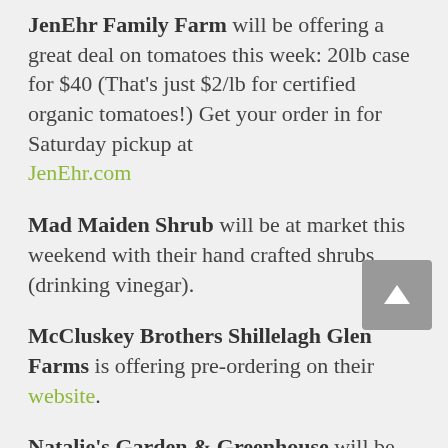JenEhr Family Farm will be offering a great deal on tomatoes this week: 20lb case for $40 (That's just $2/lb for certified organic tomatoes!) Get your order in for Saturday pickup at JenEhr.com
Mad Maiden Shrub will be at market this weekend with their hand crafted shrubs (drinking vinegar).
McCluskey Brothers Shillelagh Glen Farms is offering pre-ordering on their website.
Natalie's Garden & Greenhouse will be offering a weekly veggie box, available at the market, off the farm or for delivery. Each $25 box is